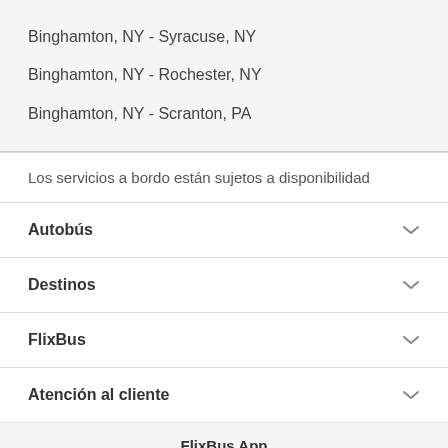Binghamton, NY - Syracuse, NY
Binghamton, NY - Rochester, NY
Binghamton, NY - Scranton, PA
Los servicios a bordo están sujetos a disponibilidad
Autobús
Destinos
FlixBus
Atención al cliente
FlixBus App